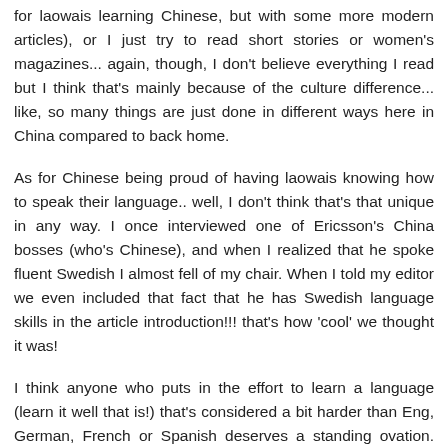for laowais learning Chinese, but with some more modern articles), or I just try to read short stories or women's magazines... again, though, I don't believe everything I read but I think that's mainly because of the culture difference... like, so many things are just done in different ways here in China compared to back home.
As for Chinese being proud of having laowais knowing how to speak their language.. well, I don't think that's that unique in any way. I once interviewed one of Ericsson's China bosses (who's Chinese), and when I realized that he spoke fluent Swedish I almost fell of my chair. When I told my editor we even included that fact that he has Swedish language skills in the article introduction!!! that's how 'cool' we thought it was!
I think anyone who puts in the effort to learn a language (learn it well that is!) that's considered a bit harder than Eng, German, French or Spanish deserves a standing ovation. But maybe that's just me... I just get so impressed when I meet Chinese people in Finland who have picked up Finnish (some people say Finnish is even harder than